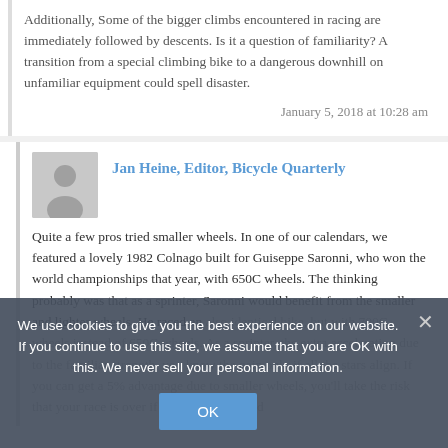Additionally, Some of the bigger climbs encountered in racing are immediately followed by descents. Is it a question of familiarity? A transition from a special climbing bike to a dangerous downhill on unfamiliar equipment could spell disaster.
January 5, 2018 at 10:28 am
Jan Heine, Editor, Bicycle Quarterly
Quite a few pros tried smaller wheels. In one of our calendars, we featured a lovely 1982 Colnago built for Guiseppe Saronni, who won the world championships that year, with 650C wheels. The thinking probably was that as a sprinter, Saronni would benefit from the smaller and lighter wheels. He raced an also identical bike, but with 700C wheels instead of 650C wheels. As a sprinter, the extra acceleration due to the familiar strength, you know the gain only if all the stars align. If you can get a 5% advantage due to smaller wheels, you'll take the risk that your race is over if you have a flat and
We use cookies to give you the best experience on our website. If you continue to use this site, we assume that you are OK with this. We never sell your personal information.